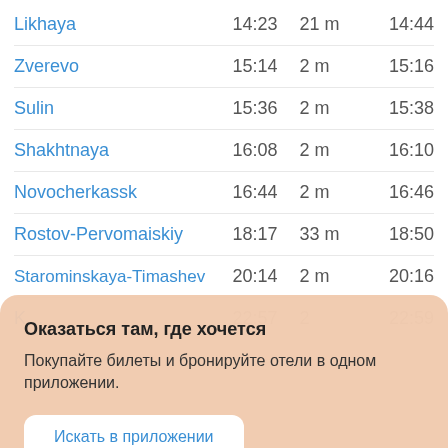| Station | Arrival | Stop | Departure |
| --- | --- | --- | --- |
| Likhaya | 14:23 | 21 m | 14:44 |
| Zverevo | 15:14 | 2 m | 15:16 |
| Sulin | 15:36 | 2 m | 15:38 |
| Shakhtnaya | 16:08 | 2 m | 16:10 |
| Novocherkassk | 16:44 | 2 m | 16:46 |
| Rostov-Pervomaiskiy | 18:17 | 33 m | 18:50 |
| Starominskaya-Timashevskaya | 20:14 | 2 m | 20:16 |
| K... | 22:57 | 2 | 22:59 |
Оказаться там, где хочется
Покупайте билеты и бронируйте отели в одном приложении.
Искать в приложении